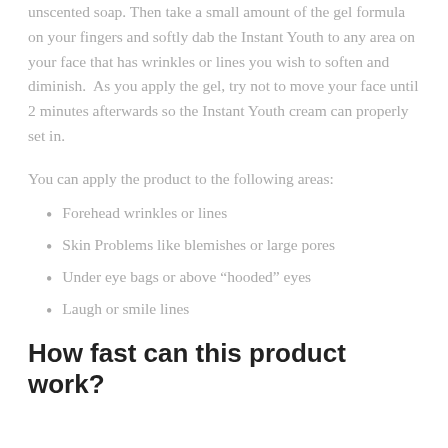unscented soap. Then take a small amount of the gel formula on your fingers and softly dab the Instant Youth to any area on your face that has wrinkles or lines you wish to soften and diminish.  As you apply the gel, try not to move your face until 2 minutes afterwards so the Instant Youth cream can properly set in.
You can apply the product to the following areas:
Forehead wrinkles or lines
Skin Problems like blemishes or large pores
Under eye bags or above “hooded” eyes
Laugh or smile lines
How fast can this product work?